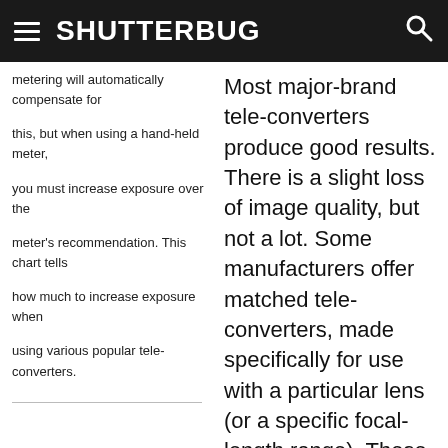SHUTTERBUG
metering will automatically compensate for this, but when using a hand-held meter, you must increase exposure over the meter's recommendation. This chart tells how much to increase exposure when using various popular tele-converters.
[Figure (photo): Two camera lens adapter rings (BR2A and BR3) stacked, one silver-rimmed black ring on top and one larger black ring below, photographed on white background.]
Most major-brand tele-converters produce good results. There is a slight loss of image quality, but not a lot. Some manufacturers offer matched tele-converters, made specifically for use with a particular lens (or a specific focal-length range). These can produce even better photographic results than general-purpose converters.